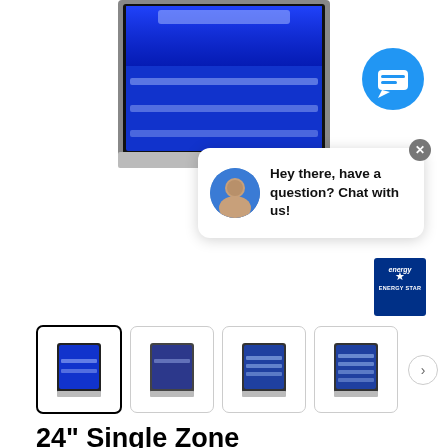[Figure (photo): Main product image of Zephyr 24-inch Single Zone Beverage Cooler with blue LED interior lighting, glass door, and stainless steel shelves, partially visible at top of page]
[Figure (screenshot): Live chat popup bubble showing an avatar of a support person and the text 'Hey there, have a question? Chat with us!' with a blue chat icon button and close X button]
[Figure (logo): Energy Star certification badge/logo in blue]
[Figure (photo): Thumbnail strip of four product images of the beverage cooler from different angles/views, with first thumbnail selected (active border), and a right arrow navigation button]
24" Single Zone Beverage Cooler
Zephyr PRB24C01BG